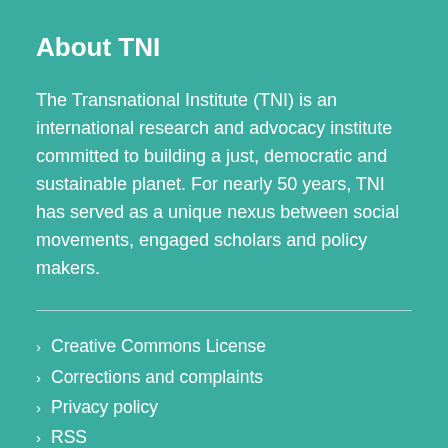About TNI
The Transnational Institute (TNI) is an international research and advocacy institute committed to building a just, democratic and sustainable planet. For nearly 50 years, TNI has served as a unique nexus between social movements, engaged scholars and policy makers.
Creative Commons License
Corrections and complaints
Privacy policy
RSS
ANBI
©2015 Transnational Institute